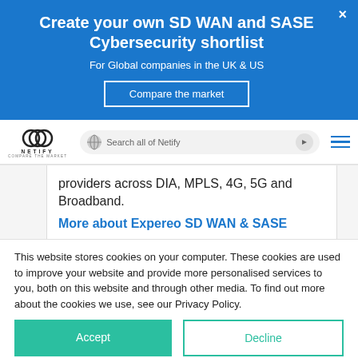Create your own SD WAN and SASE Cybersecurity shortlist
For Global companies in the UK & US
Compare the market
[Figure (logo): Netify logo with interlocking rings and text NETIFY COMPARE THE MARKET, plus search bar and hamburger menu navigation]
providers across DIA, MPLS, 4G, 5G and Broadband.
More about Expereo SD WAN & SASE
This website stores cookies on your computer. These cookies are used to improve your website and provide more personalised services to you, both on this website and through other media. To find out more about the cookies we use, see our Privacy Policy.
Accept
Decline